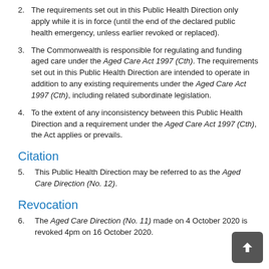2. The requirements set out in this Public Health Direction only apply while it is in force (until the end of the declared public health emergency, unless earlier revoked or replaced).
3. The Commonwealth is responsible for regulating and funding aged care under the Aged Care Act 1997 (Cth). The requirements set out in this Public Health Direction are intended to operate in addition to any existing requirements under the Aged Care Act 1997 (Cth), including related subordinate legislation.
4. To the extent of any inconsistency between this Public Health Direction and a requirement under the Aged Care Act 1997 (Cth), the Act applies or prevails.
Citation
5. This Public Health Direction may be referred to as the Aged Care Direction (No. 12).
Revocation
6. The Aged Care Direction (No. 11) made on 4 October 2020 is revoked 4pm on 16 October 2020.